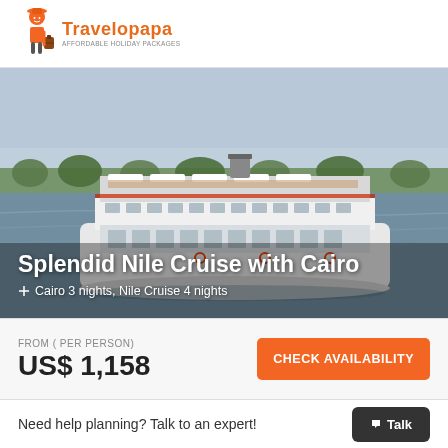Travelopapa
[Figure (photo): A large white multi-deck cruise ship sailing on the Nile River with greenery visible on the opposite bank under a hazy sky.]
Splendid Nile Cruise with Cairo
Cairo 3 nights, Nile Cruise 4 nights
FROM ( PER PERSON)
US$ 1,158
CHECK AVAILABILITY
Need help planning? Talk to an expert!
Talk